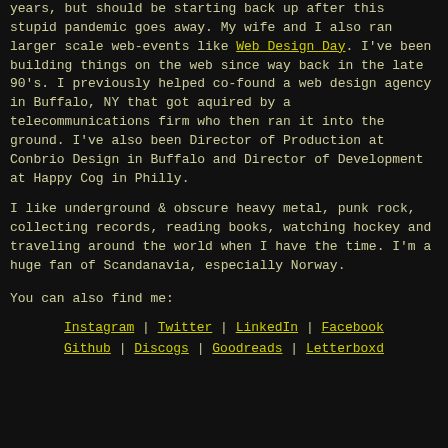years, but should be starting back up after this stupid pandemic goes away. My wife and I also ran larger scale web-events like Web Design Day. I've been building things on the web since way back in the late 90's. I previously helped co-found a web design agency in Buffalo, NY that got aquired by a telecommunications firm who then ran it into the ground. I've also been Director of Production at Conbrio Design in Buffalo and Director of Development at Happy Cog in Philly.
I like underground & obscure heavy metal, punk rock, collecting records, reading books, watching hockey and traveling around the world when I have the time. I'm a huge fan of Scandanavia, especially Norway.
You can also find me:
Instagram | Twitter | LinkedIn | Facebook Github | Discogs | Goodreads | Letterboxd